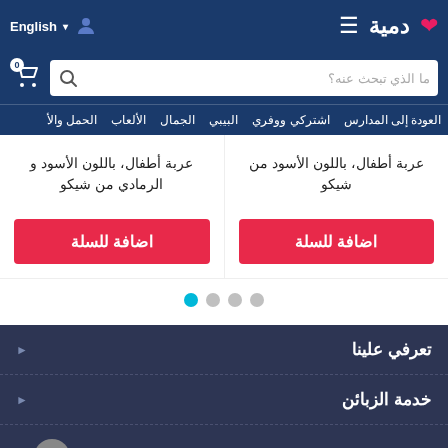English | دمية — navigation header with cart, search, and menu
عربة أطفال، باللون الأسود من شيكو
عربة أطفال، باللون الأسود و الرمادي من شيكو
اضافة للسلة
اضافة للسلة
تعرفي علينا
خدمة الزبائن
حسابي
ابق على اتصال